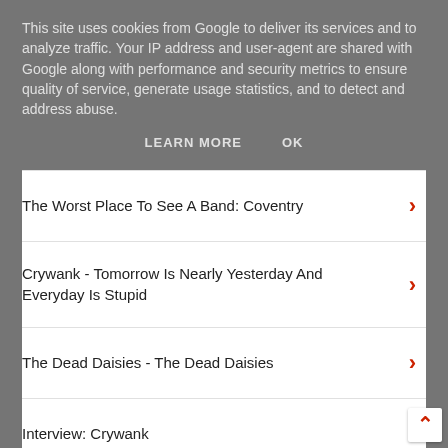This site uses cookies from Google to deliver its services and to analyze traffic. Your IP address and user-agent are shared with Google along with performance and security metrics to ensure quality of service, generate usage statistics, and to detect and address abuse.
LEARN MORE
OK
The Worst Place To See A Band: Coventry
Crywank - Tomorrow Is Nearly Yesterday And Everyday Is Stupid
The Dead Daisies - The Dead Daisies
Interview: Crywank